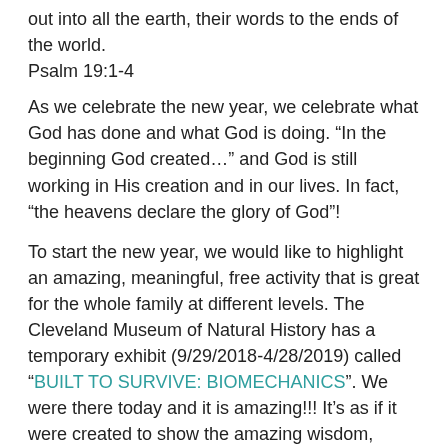out into all the earth, their words to the ends of the world. Psalm 19:1-4
As we celebrate the new year, we celebrate what God has done and what God is doing. “In the beginning God created…” and God is still working in His creation and in our lives. In fact, “the heavens declare the glory of God”!
To start the new year, we would like to highlight an amazing, meaningful, free activity that is great for the whole family at different levels. The Cleveland Museum of Natural History has a temporary exhibit (9/29/2018-4/28/2019) called “BUILT TO SURVIVE: BIOMECHANICS”. We were there today and it is amazing!!! It’s as if it were created to show the amazing wisdom, power, creativity, etc. of our amazing Creator. Our 4 year old, 8 year old, Elyse and myself (It’s hard to speak for the baby), all thoroughly enjoyed the exhibit and it had the right mix of hands on, and deeper information to keep us all engaged and amazed. (See below for the “free” part, since the museum is not usually free :o)